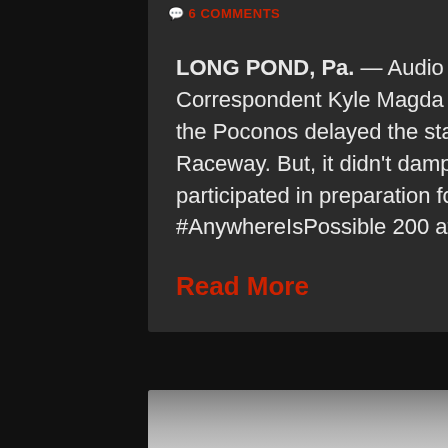6 COMMENTS
LONG POND, Pa. — Audio and recap by Race Chaser Online Northeast Correspondent Kyle Magda — ARCA photo — Last night's heavy rain in the Poconos delayed the start of Tuesday's ARCA test at Pocono Raceway. But, it didn't damper the spirits of the 25 drivers who participated in preparation for Friday's General Tire #AnywhereIsPossible 200 at the Tricky Triangle. ...
Read More
[Figure (photo): Partial view of a racing scene with heavy smoke and grass visible in the background]